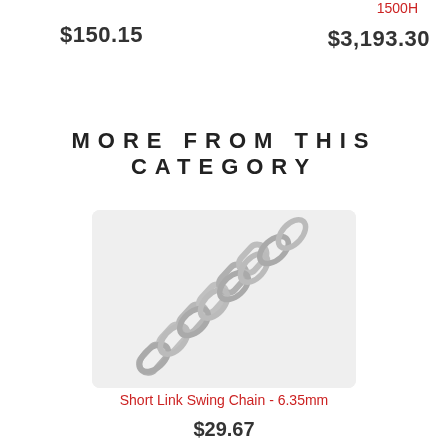$150.15
1500H
$3,193.30
MORE FROM THIS CATEGORY
[Figure (photo): A stainless steel short link swing chain photographed diagonally against a light grey background]
Short Link Swing Chain - 6.35mm
$29.67